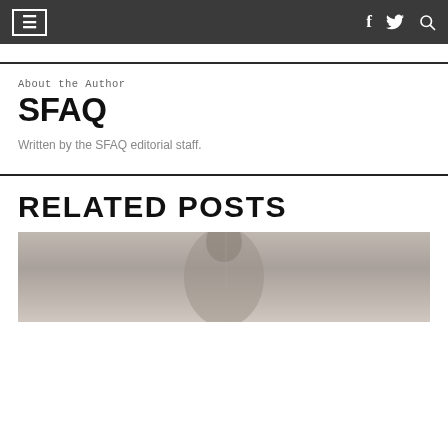Navigation bar with hamburger menu, Facebook, Twitter, and search icons
About the Author
SFAQ
Written by the SFAQ editorial staff.
RELATED POSTS
[Figure (photo): A black and white photograph partially visible at the bottom of the page]